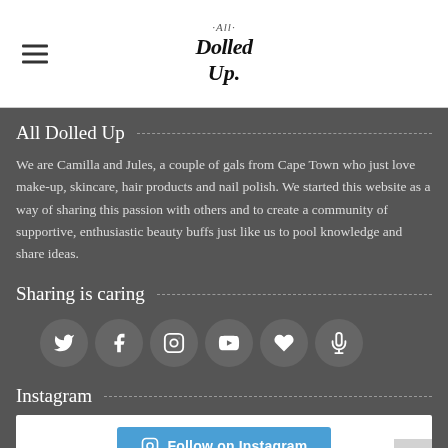All Dolled Up (logo)
All Dolled Up
We are Camilla and Jules, a couple of gals from Cape Town who just love make-up, skincare, hair products and nail polish. We started this website as a way of sharing this passion with others and to create a community of supportive, enthusiastic beauty buffs just like us to pool knowledge and share ideas.
Sharing is caring
[Figure (infographic): Row of six circular social media icon buttons: Twitter, Facebook, Instagram, YouTube, heart/Bloglovin, microphone/podcast]
Instagram
[Figure (screenshot): Instagram embed widget with a blue Follow on Instagram button]